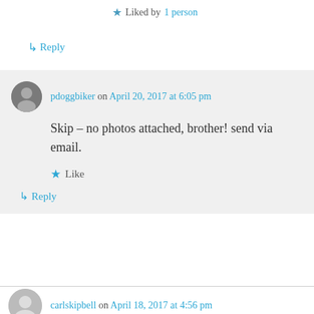★ Liked by 1 person
↳ Reply
pdoggbiker on April 20, 2017 at 6:05 pm
Skip – no photos attached, brother! send via email.
★ Like
↳ Reply
carlskipbell on April 18, 2017 at 4:56 pm
Regarding the information on the 1st Squadron, 4th Cavalry, 1st Infantry Division. 1-4 Cavalry